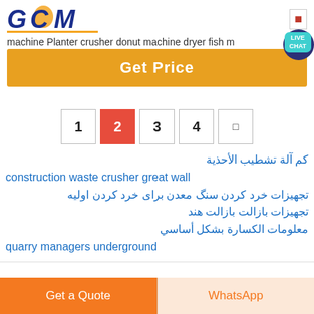[Figure (logo): GCM Machinery logo - blue stylized GCM text with gold underline and 'GCM MACHINERY' text below]
machine Planter crusher donut machine dryer fish m...
Get Price
1
2
3
4
→
كم آلة تشطيب الأحذية
construction waste crusher great wall
تجهيزات خرد كردن سنگ معدن برای خرد كردن اوليه
تجهيزات بازالت بازالت هند
معلومات الكسارة بشكل أساسي
quarry managers underground
Get a Quote
WhatsApp